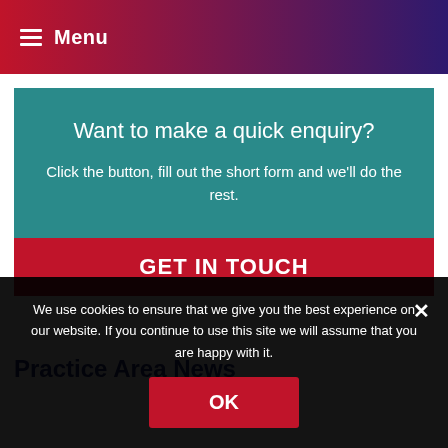Menu
Want to make a quick enquiry?
Click the button, fill out the short form and we'll do the rest.
GET IN TOUCH
Practice Area News
We use cookies to ensure that we give you the best experience on our website. If you continue to use this site we will assume that you are happy with it.
OK